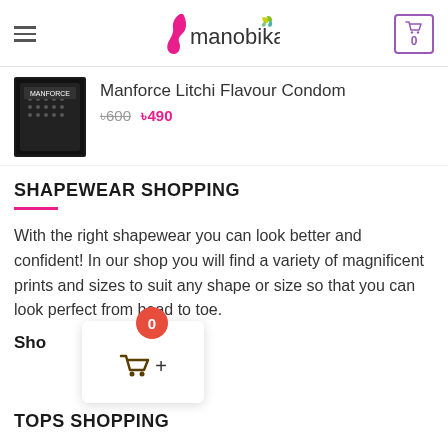manobika (logo header with hamburger menu and cart icon showing 0)
[Figure (screenshot): Manforce Litchi Flavour Condom product image - dark packaging with dots pattern]
Manforce Litchi Flavour Condom ৳600 ৳490
SHAPEWEAR SHOPPING
With the right shapewear you can look better and confident! In our shop you will find a variety of magnificent prints and sizes to suit any shape or size so that you can look perfect from head to toe.
[Figure (screenshot): Floating cart widget showing 0 badge in red circle and basket icon with plus sign]
Sho
TOPS SHOPPING